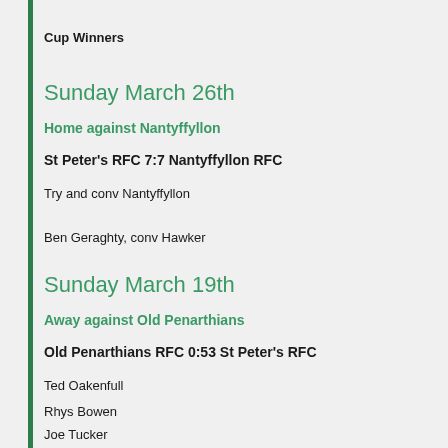Cup Winners
Sunday March 26th
Home against Nantyffyllon
St Peter's RFC 7:7 Nantyffyllon RFC
Try and conv Nantyffyllon
Ben Geraghty, conv Hawker
Sunday March 19th
Away against Old Penarthians
Old Penarthians RFC 0:53 St Peter's RFC
Ted Oakenfull
Rhys Bowen
Joe Tucker